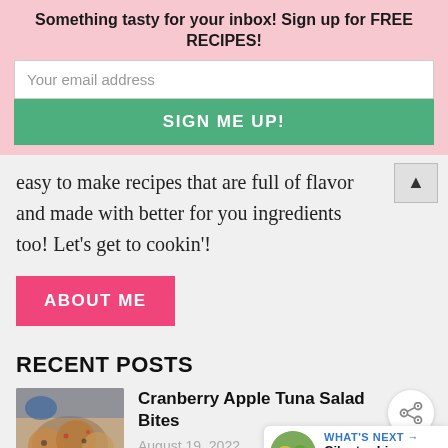Something tasty for your inbox! Sign up for FREE RECIPES!
Your email address
SIGN ME UP!
easy to make recipes that are full of flavor and made with better for you ingredients too! Let's get to cookin'!
ABOUT ME
RECENT POSTS
Cranberry Apple Tuna Salad Bites
August 19, 2022
WHAT'S NEXT → Cilantro Lime Pasta Salad